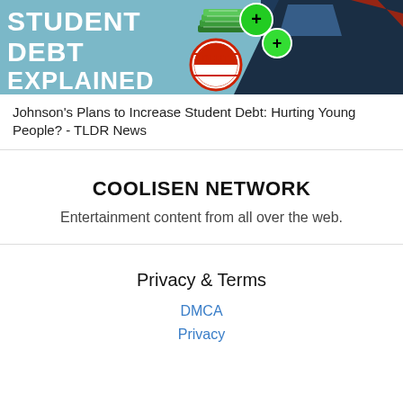[Figure (screenshot): Thumbnail image for a video titled 'Student Debt Explained'. Shows bold white text 'STUDENT DEBT EXPLAINED' on a teal/blue background, a money stack graphic with plus signs, a red circle badge labeled 'DEBT', and a man in graduation attire on the right.]
Johnson's Plans to Increase Student Debt: Hurting Young People? - TLDR News
COOLISEN NETWORK
Entertainment content from all over the web.
Privacy & Terms
DMCA
Privacy